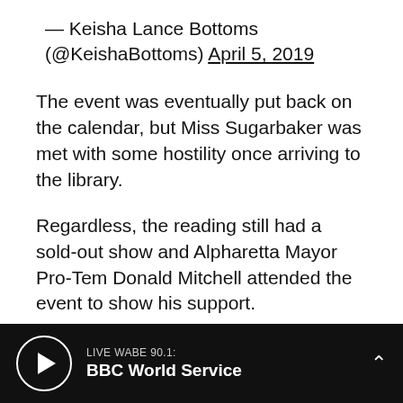— Keisha Lance Bottoms (@KeishaBottoms) April 5, 2019
The event was eventually put back on the calendar, but Miss Sugarbaker was met with some hostility once arriving to the library.
Regardless, the reading still had a sold-out show and Alpharetta Mayor Pro-Tem Donald Mitchell attended the event to show his support.
“That’s the beauty of public spaces, like a library. They should offer something for everyone, and they should be a safe space for everyone,”
LIVE WABE 90.1: BBC World Service